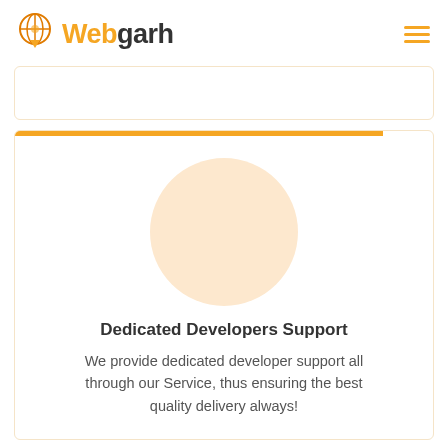Webgarh
[Figure (logo): Webgarh logo with globe/pin icon and orange 'Web' text]
[Figure (illustration): Large peach/orange circle placeholder image inside a card with orange top bar]
Dedicated Developers Support
We provide dedicated developer support all through our Service, thus ensuring the best quality delivery always!